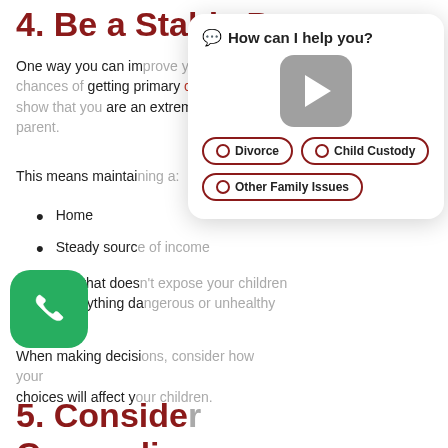4. Be a Stable Parent
One way you can improve your chances of getting primary custody is to show that you are an extremely stable parent.
This means maintaining a:
Home
Steady source of income
Life that doesn't expose your children to anything dangerous or unhealthy
When making decisions, consider how your choices will affect your children.
5. Consider Counseling